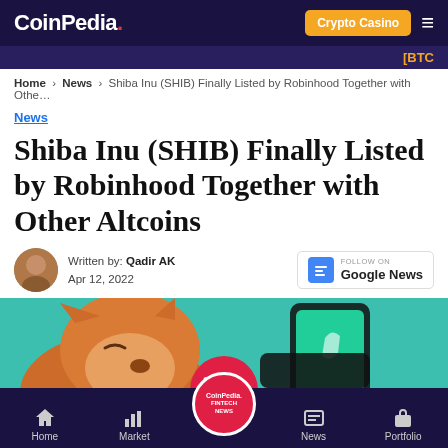CoinPedia. | Crypto Casino | ≡
[BTC
Home > News > Shiba Inu (SHIB) Finally Listed by Robinhood Together with Othe...
News
Shiba Inu (SHIB) Finally Listed by Robinhood Together with Other Altcoins
Written by: Qadir AK
Apr 12, 2022
[Figure (logo): Follow on Google News button]
[Figure (photo): Hero image showing Shiba Inu dog with Robinhood app on phone against teal background, with CoinPedia Fintech News logo overlay]
Home | Market | CoinPedia Fintech News | News | Portfolio